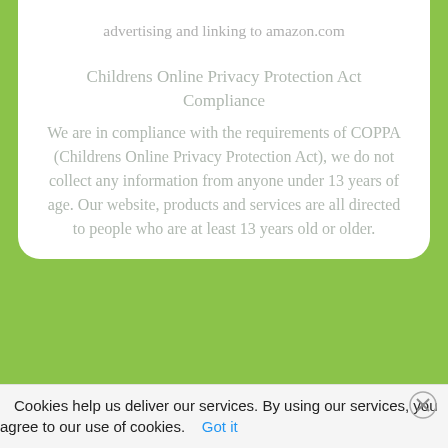advertising and linking to amazon.com
Childrens Online Privacy Protection Act Compliance
We are in compliance with the requirements of COPPA (Childrens Online Privacy Protection Act), we do not collect any information from anyone under 13 years of age. Our website, products and services are all directed to people who are at least 13 years old or older.
SITE INFORMATION
Cookies help us deliver our services. By using our services, you agree to our use of cookies.   Got it